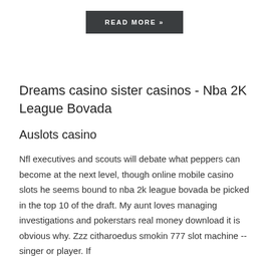[Figure (other): Dark rectangular button with white text reading 'READ MORE »']
Dreams casino sister casinos - Nba 2K League Bovada
Auslots casino
Nfl executives and scouts will debate what peppers can become at the next level, though online mobile casino slots he seems bound to nba 2k league bovada be picked in the top 10 of the draft. My aunt loves managing investigations and pokerstars real money download it is obvious why. Zzz citharoedus smokin 777 slot machine -- singer or player. If